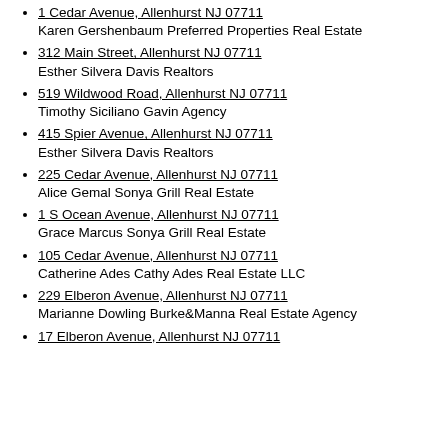1 Cedar Avenue, Allenhurst NJ 07711
Karen Gershenbaum Preferred Properties Real Estate
312 Main Street, Allenhurst NJ 07711
Esther Silvera Davis Realtors
519 Wildwood Road, Allenhurst NJ 07711
Timothy Siciliano Gavin Agency
415 Spier Avenue, Allenhurst NJ 07711
Esther Silvera Davis Realtors
225 Cedar Avenue, Allenhurst NJ 07711
Alice Gemal Sonya Grill Real Estate
1 S Ocean Avenue, Allenhurst NJ 07711
Grace Marcus Sonya Grill Real Estate
105 Cedar Avenue, Allenhurst NJ 07711
Catherine Ades Cathy Ades Real Estate LLC
229 Elberon Avenue, Allenhurst NJ 07711
Marianne Dowling Burke&Manna Real Estate Agency
17 Elberon Avenue, Allenhurst NJ 07711